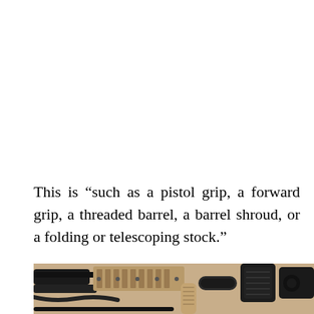This is “such as a pistol grip, a forward grip, a threaded barrel, a barrel shroud, or a folding or telescoping stock.”
[Figure (photo): Close-up photo of multiple firearms components and accessories including barrels, grips, rails, and attachments laid out on a surface, shown from above.]